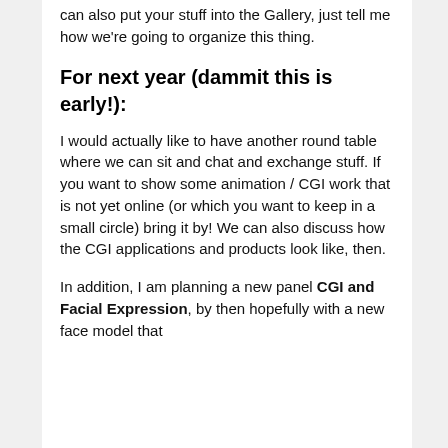can also put your stuff into the Gallery, just tell me how we're going to organize this thing.
For next year (dammit this is early!):
I would actually like to have another round table where we can sit and chat and exchange stuff. If you want to show some animation / CGI work that is not yet online (or which you want to keep in a small circle) bring it by! We can also discuss how the CGI applications and products look like, then.
In addition, I am planning a new panel CGI and Facial Expression, by then hopefully with a new face model that